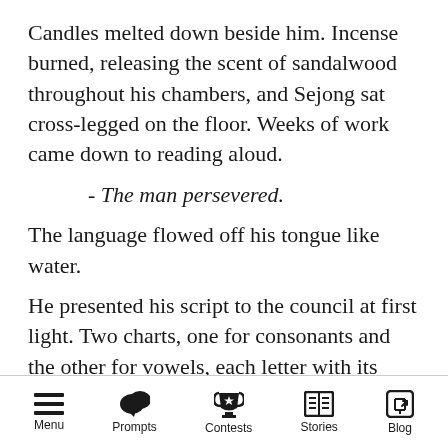Candles melted down beside him. Incense burned, releasing the scent of sandalwood throughout his chambers, and Sejong sat cross-legged on the floor. Weeks of work came down to reading aloud.
- The man persevered.
The language flowed off his tongue like water.
He presented his script to the council at first light. Two charts, one for consonants and the other for vowels, each letter with its phonetic equal written next to it. Easy to follow stroke orders. He sat upon his throne, royals whispering before him.
Menu  Prompts  Contests  Stories  Blog